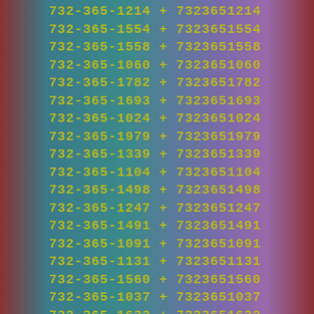732-365-1214 + 7323651214
732-365-1554 + 7323651554
732-365-1558 + 7323651558
732-365-1060 + 7323651060
732-365-1782 + 7323651782
732-365-1693 + 7323651693
732-365-1024 + 7323651024
732-365-1979 + 7323651979
732-365-1339 + 7323651339
732-365-1104 + 7323651104
732-365-1498 + 7323651498
732-365-1247 + 7323651247
732-365-1491 + 7323651491
732-365-1091 + 7323651091
732-365-1131 + 7323651131
732-365-1560 + 7323651560
732-365-1037 + 7323651037
732-365-1632 + 7323651632
732-365-1639 + 7323651639
732-365-1777 + 7323651777
732-365-1042 + 7323651042
732-365-1137 + 7323651137
732-365-1021 + 7323651021